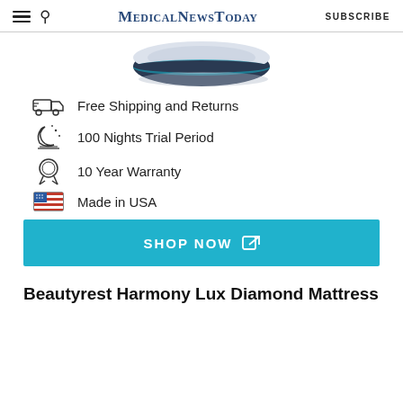MedicalNewsToday  SUBSCRIBE
[Figure (photo): Partial image of a mattress (Beautyrest Harmony Lux Diamond) viewed from the corner, dark navy and white tufted fabric, on a white background]
Free Shipping and Returns
100 Nights Trial Period
10 Year Warranty
Made in USA
SHOP NOW
Beautyrest Harmony Lux Diamond Mattress